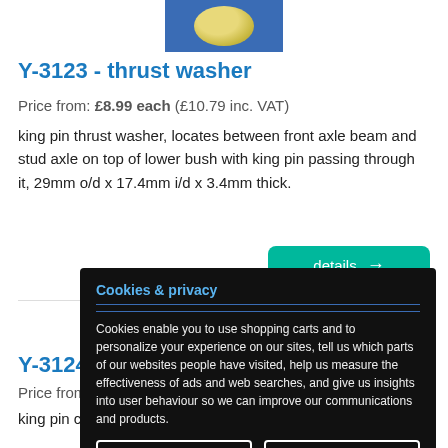[Figure (photo): Product photo of thrust washer on blue background]
Y-3123 - thrust washer
Price from: £8.99 each  (£10.79 inc. VAT)
king pin thrust washer, locates between front axle beam and stud axle on top of lower bush with king pin passing through it, 29mm o/d x 17.4mm i/d x 3.4mm thick.
[Figure (photo): Second product photo on blue background]
Y-3124 - co…
Price from: £4…
king pin cotter…
Cookies & privacy
Cookies enable you to use shopping carts and to personalize your experience on our sites, tell us which parts of our websites people have visited, help us measure the effectiveness of ads and web searches, and give us insights into user behaviour so we can improve our communications and products.
Accept cookies  Customize cookies